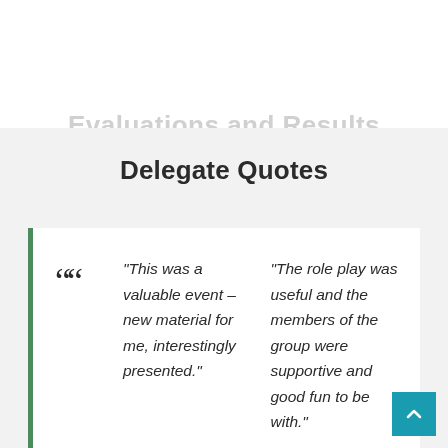Evaluations and Results
Delegate Quotes
“This was a valuable event – new material for me, interestingly presented.”
“The role play was useful and the members of the group were supportive and good fun to be with.”